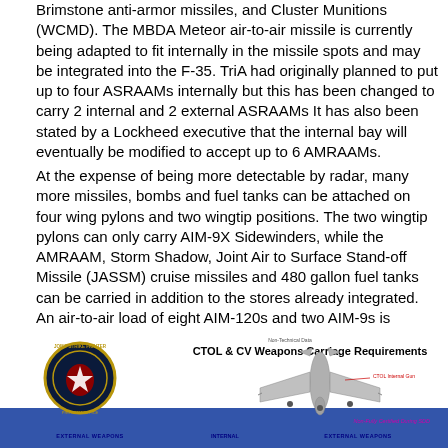Brimstone anti-armor missiles, and Cluster Munitions (WCMD). The MBDA Meteor air-to-air missile is currently being adapted to fit internally in the missile spots and may be integrated into the F-35. TriA had originally planned to put up to four ASRAAMs internally but this has been changed to carry 2 internal and 2 external ASRAAMs It has also been stated by a Lockheed executive that the internal bay will eventually be modified to accept up to 6 AMRAAMs.
At the expense of being more detectable by radar, many more missiles, bombs and fuel tanks can be attached on four wing pylons and two wingtip positions. The two wingtip pylons can only carry AIM-9X Sidewinders, while the AMRAAM, Storm Shadow, Joint Air to Surface Stand-off Missile (JASSM) cruise missiles and 480 gallon fuel tanks can be carried in addition to the stores already integrated. An air-to-air load of eight AIM-120s and two AIM-9s is conceivable using internal and external weapons stations, as well as a configuration of six two thousand pound bombs, two AIM-120s and two AIM-9s
[Figure (illustration): F-35 CTOL & CV Weapons Carriage Requirements diagram showing aircraft top-down view with labels for CTOL Internal Gun, External Weapons and Internal positions. Features Joint Strike Fighter logo circle and a blue bar at the bottom with classification markings.]